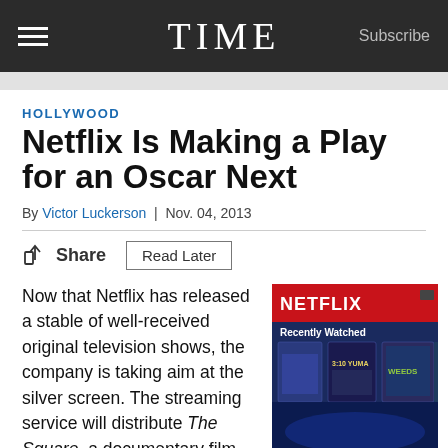TIME  Subscribe
HOLLYWOOD
Netflix Is Making a Play for an Oscar Next
By Victor Luckerson | Nov. 04, 2013
Share  Read Later
Now that Netflix has released a stable of well-received original television shows, the company is taking aim at the silver screen. The streaming service will distribute The Square, a documentary film
[Figure (photo): Netflix interface showing 'Recently Watched' section with movie thumbnails and red Netflix banner]
Gareth Cattermole / Getty Images for Netflix